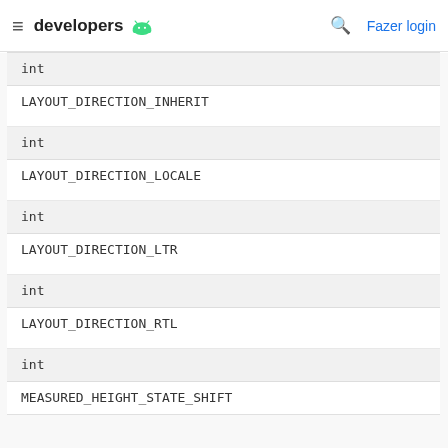developers
| int | LAYOUT_DIRECTION_INHERIT |
| int | LAYOUT_DIRECTION_LOCALE |
| int | LAYOUT_DIRECTION_LTR |
| int | LAYOUT_DIRECTION_RTL |
| int | MEASURED_HEIGHT_STATE_SHIFT |